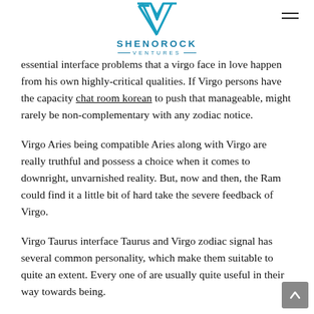SHENOROCK VENTURES
essential interface problems that a virgo face in love happen from his own highly-critical qualities. If Virgo persons have the capacity chat room korean to push that manageable, might rarely be non-complementary with any zodiac notice.
Virgo Aries being compatible Aries along with Virgo are really truthful and possess a choice when it comes to downright, unvarnished reality. But, now and then, the Ram could find it a little bit of hard take the severe feedback of Virgo.
Virgo Taurus interface Taurus and Virgo zodiac signal has several common personality, which make them suitable to quite an extent. Every one of are usually quite useful in their way towards being.